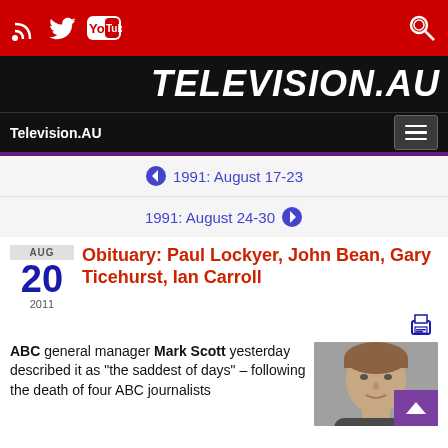TELEVISION.AU — Television.AU
◀ 1991: August 17-23
1991: August 24-30 ▶
Obituary: Paul Lockyer, John Bean, Gary Ticehurst, Ian Carroll
AUG 20 2011
ABC general manager Mark Scott yesterday described it as "the saddest of days" – following the death of four ABC journalists